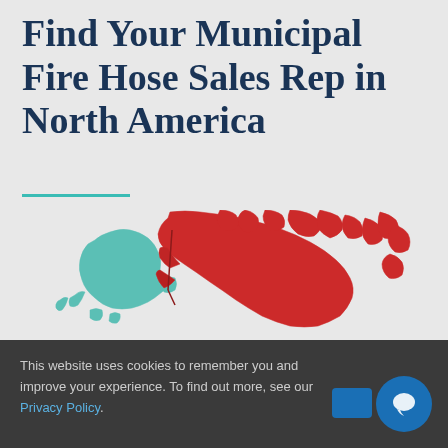Find Your Municipal Fire Hose Sales Rep in North America
[Figure (map): Map of North America showing Canada in red and Alaska in teal/green color, representing sales territory regions for municipal fire hose sales representatives.]
This website uses cookies to remember you and improve your experience. To find out more, see our Privacy Policy.